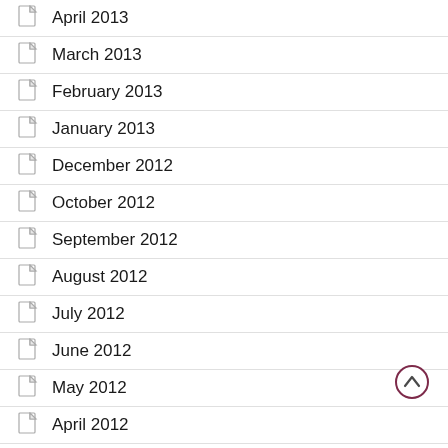April 2013
March 2013
February 2013
January 2013
December 2012
October 2012
September 2012
August 2012
July 2012
June 2012
May 2012
April 2012